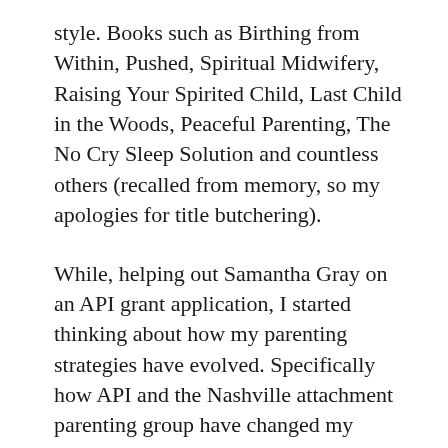style. Books such as Birthing from Within, Pushed, Spiritual Midwifery, Raising Your Spirited Child, Last Child in the Woods, Peaceful Parenting, The No Cry Sleep Solution and countless others (recalled from memory, so my apologies for title butchering).
While, helping out Samantha Gray on an API grant application, I started thinking about how my parenting strategies have evolved. Specifically how API and the Nashville attachment parenting group have changed my mindset about how children should behave, and how I react to my son, Michael.  Prior to learning about AP and attending meetings, I often felt resentful of my son's frequent night